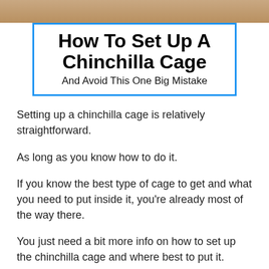[Figure (photo): Photo of a chinchilla (brown/tan fur) at the top of the page, partially cropped]
How To Set Up A Chinchilla Cage
And Avoid This One Big Mistake
Setting up a chinchilla cage is relatively straightforward.
As long as you know how to do it.
If you know the best type of cage to get and what you need to put inside it, you're already most of the way there.
You just need a bit more info on how to set up the chinchilla cage and where best to put it.